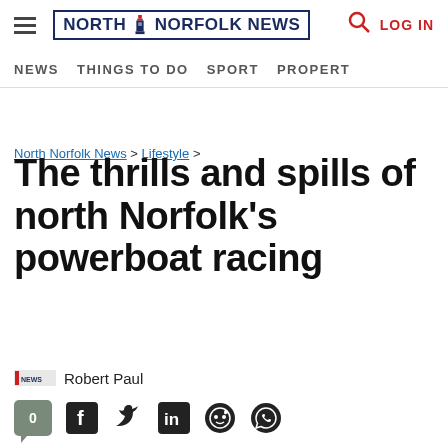NORTH NORFOLK NEWS — NAV: NEWS | THINGS TO DO | SPORT | PROPERTY
North Norfolk News > Lifestyle >
The thrills and spills of north Norfolk's powerboat racing
Robert Paul